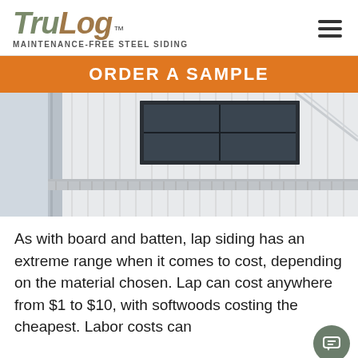TruLog™ MAINTENANCE-FREE STEEL SIDING
ORDER A SAMPLE
[Figure (photo): Exterior of a modern building with white vertical steel siding (board and batten style), a dark-framed window, and an overhanging awning or eave with a decorative underside.]
As with board and batten, lap siding has an extreme range when it comes to cost, depending on the material chosen. Lap can cost anywhere from $1 to $10, with softwoods costing the cheapest. Labor costs can